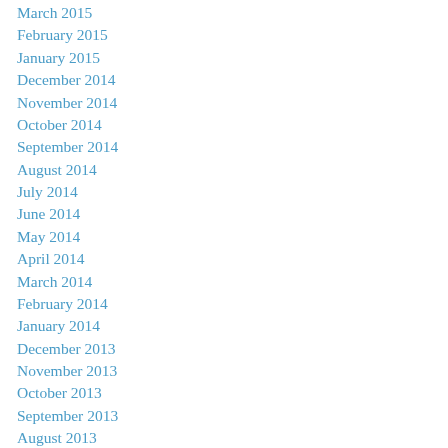March 2015
February 2015
January 2015
December 2014
November 2014
October 2014
September 2014
August 2014
July 2014
June 2014
May 2014
April 2014
March 2014
February 2014
January 2014
December 2013
November 2013
October 2013
September 2013
August 2013
July 2013